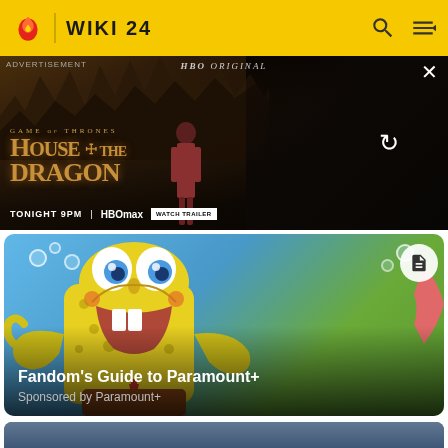WIKI 24
[Figure (screenshot): Advertisement banner for House of the Dragon on HBO Max. Dark moody background with fantasy imagery. Text: ADVERTISEMENT, HBO ORIGINAL, GAME OF THRONES, HOUSE OF THE DRAGON, TONIGHT 9PM | HBOmax | WATCH TRAILER]
[Figure (photo): SpongeBob SquarePants cartoon character smiling with underwater background, bubbles visible]
Fandom's Guide to Paramount+
Sponsored by Paramount+
[Figure (photo): Partially visible person at bottom of page]